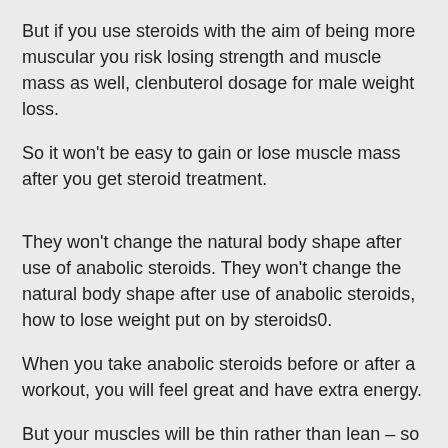But if you use steroids with the aim of being more muscular you risk losing strength and muscle mass as well, clenbuterol dosage for male weight loss.
So it won't be easy to gain or lose muscle mass after you get steroid treatment.
They won't change the natural body shape after use of anabolic steroids. They won't change the natural body shape after use of anabolic steroids, how to lose weight put on by steroids0.
When you take anabolic steroids before or after a workout, you will feel great and have extra energy.
But your muscles will be thin rather than lean – so if you are having trouble keeping up